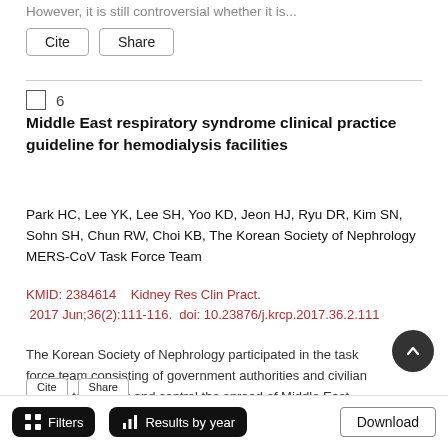However, it is still controversial whether it is...
Cite   Share
Middle East respiratory syndrome clinical practice guideline for hemodialysis facilities
Park HC, Lee YK, Lee SH, Yoo KD, Jeon HJ, Ryu DR, Kim SN, Sohn SH, Chun RW, Choi KB, The Korean Society of Nephrology MERS-CoV Task Force Team
KMID: 2384614    Kidney Res Clin Pract.  2017 Jun;36(2):111-116.  doi: 10.23876/j.krcp.2017.36.2.111
The Korean Society of Nephrology participated in the task force team consisting of government authorities and civilian experts to prevent and control the spread of Middle East respiratory syndrome (MERS)...
Filters   Results by year   Download